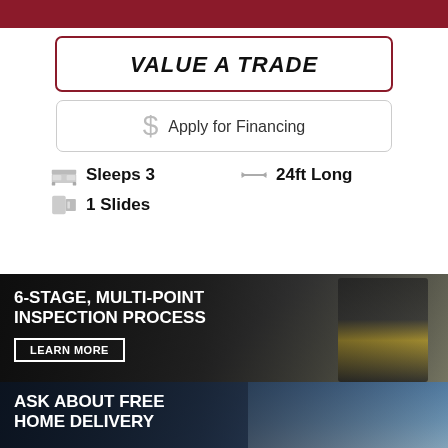VALUE A TRADE
Apply for Financing
Sleeps 3
24ft Long
1 Slides
[Figure (photo): 6-STAGE, MULTI-POINT INSPECTION PROCESS banner with LEARN MORE button, showing a mechanic using a tablet in a garage setting]
[Figure (photo): ASK ABOUT FREE HOME DELIVERY banner showing a large RV motorhome with clouds in background]